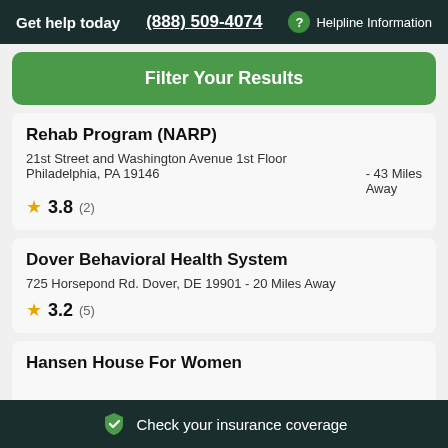Get help today  (888) 509-4074  ? Helpline Information
Filter Your Results
Rehab Program (NARP)
21st Street and Washington Avenue 1st Floor Philadelphia, PA 19146 - 43 Miles Away
★ 3.8 (2)
Dover Behavioral Health System
725 Horsepond Rd. Dover, DE 19901 - 20 Miles Away
★ 3.2 (5)
Hansen House For Women
Check your insurance coverage